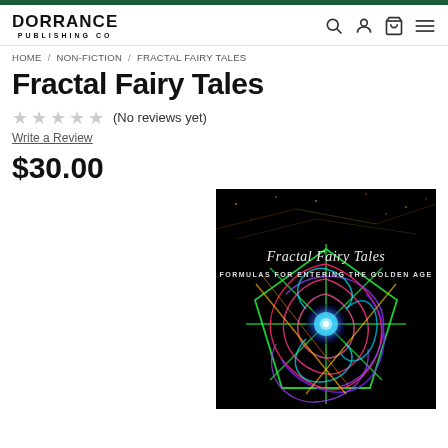[Figure (logo): Dorrance Publishing Co logo with bold black text]
HOME / NON-FICTION / FRACTAL FAIRY TALES
Fractal Fairy Tales
★★★★★ (No reviews yet)
Write a Review
$30.00
[Figure (photo): Book cover of Fractal Fairy Tales showing colorful fractal art on black background with text 'Fractal Fairy Tales FORMULAS FOR ENTERING THE GOLDEN AGE']